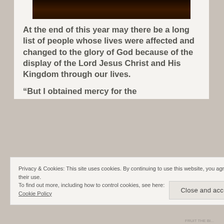[Figure (photo): Dark brown/black photo at top of content area, appears to show a dimly lit scene]
At the end of this year may there be a long list of people whose lives were affected and changed to the glory of God because of the display of the Lord Jesus Christ and His Kingdom through our lives.
“But I obtained mercy for the
Privacy & Cookies: This site uses cookies. By continuing to use this website, you agree to their use.
To find out more, including how to control cookies, see here:
Cookie Policy